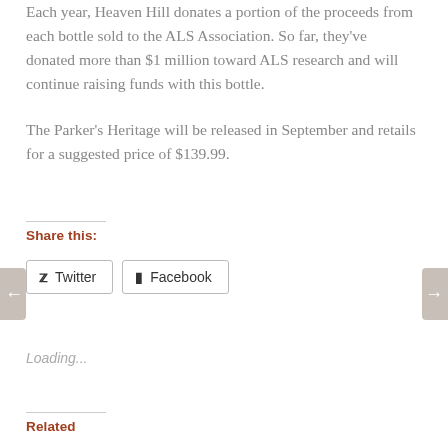Each year, Heaven Hill donates a portion of the proceeds from each bottle sold to the ALS Association. So far, they've donated more than $1 million toward ALS research and will continue raising funds with this bottle.
The Parker's Heritage will be released in September and retails for a suggested price of $139.99.
Share this:
Twitter
Facebook
Loading...
Related